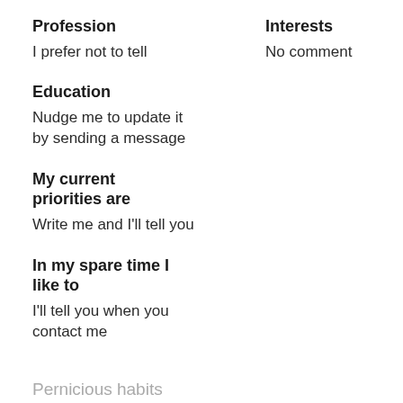Profession
I prefer not to tell
Interests
No comment
Education
Nudge me to update it by sending a message
My current priorities are
Write me and I'll tell you
In my spare time I like to
I'll tell you when you contact me
Pernicious habits